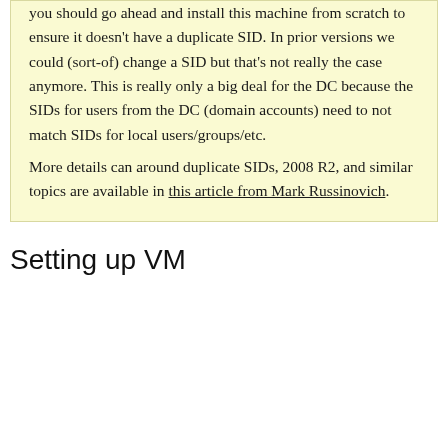you should go ahead and install this machine from scratch to ensure it doesn't have a duplicate SID. In prior versions we could (sort-of) change a SID but that's not really the case anymore. This is really only a big deal for the DC because the SIDs for users from the DC (domain accounts) need to not match SIDs for local users/groups/etc.
More details can around duplicate SIDs, 2008 R2, and similar topics are available in this article from Mark Russinovich.
Setting up VM